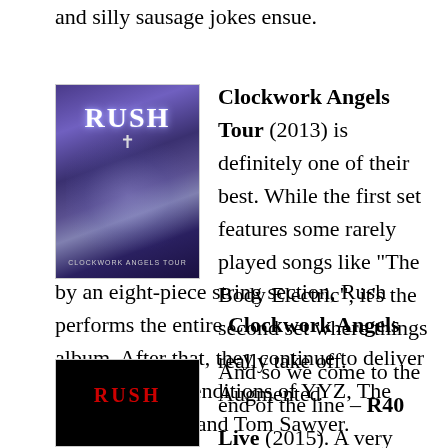and silly sausage jokes ensue.
[Figure (photo): Album cover for Rush Clockwork Angels Tour showing the band name RUSH in large letters with a blue/purple atmospheric background and the text CLOCKWORK ANGELS TOUR at the bottom]
Clockwork Angels Tour (2013) is definitely one of their best. While the first set features some rarely played songs like “The Body Electric”, it’s the second set where things really take off. Augmented by an eight-piece string section, Rush performs the entire Clockwork Angels album. After that, they continue to deliver with excellent renditions of YYZ, The Spirit of Radio, and Tom Sawyer.
[Figure (photo): Album cover for Rush R40 Live showing the word RUSH in red letters on a dark/black background]
And so we come to the end of the line – R40 Live (2015). A very special set